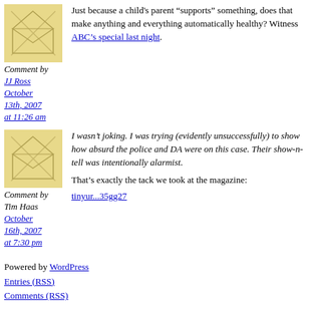[Figure (illustration): Star/envelope avatar image with yellowish background]
Comment by JJ Ross October 13th, 2007 at 11:26 am
Just because a child's parent “supports” something, does that make anything and everything automatically healthy? Witness ABC’s special last night.
[Figure (illustration): Star/envelope avatar image with yellowish background]
Comment by Tim Haas October 16th, 2007 at 7:30 pm
I wasn’t joking. I was trying (evidently unsuccessfully) to show how absurd the police and DA were on this case. Their show-n-tell was intentionally alarmist.
That’s exactly the tack we took at the magazine:
tinyur...35gg27
Powered by WordPress
Entries (RSS)
Comments (RSS)

Theme designed by Rusty, tweaked by Ron & Andrea